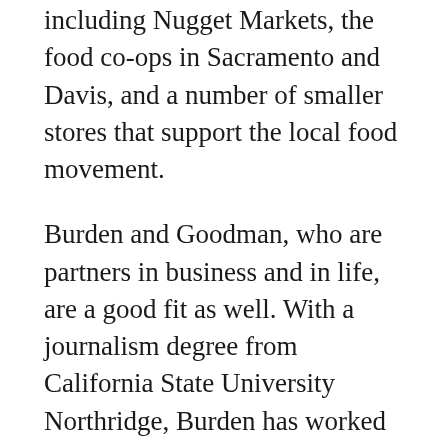including Nugget Markets, the food co-ops in Sacramento and Davis, and a number of smaller stores that support the local food movement.
Burden and Goodman, who are partners in business and in life, are a good fit as well. With a journalism degree from California State University Northridge, Burden has worked for publications in California, Washington, Oregon and Nevada. Goodman previously sold dental equipment and now leverages her sales experience to